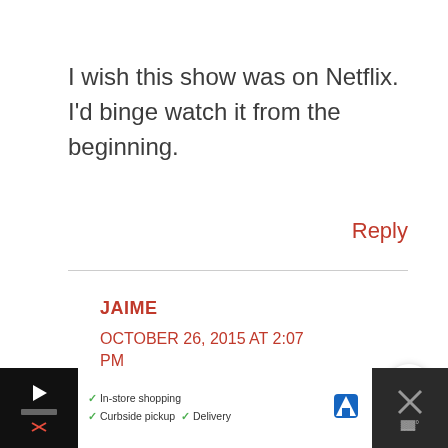I wish this show was on Netflix. I'd binge watch it from the beginning.
Reply
JAIME
OCTOBER 26, 2015 AT 2:07 PM
[Figure (other): Share button icon (circular white button with share/network icon in orange-red)]
[Figure (other): Advertisement bar at bottom: dark background with play icon and advertiser logo on left, white section with checkmarks listing In-store shopping, Curbside pickup, Delivery with map pin icon, dark right section with X close and temperature icon]